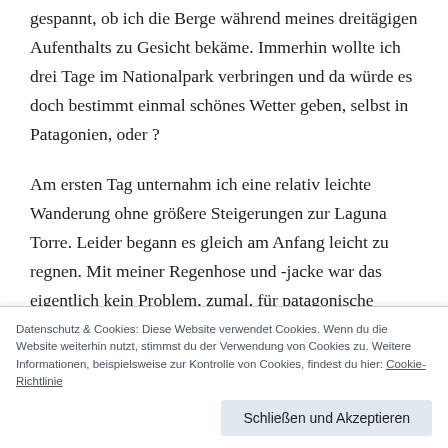gespannt, ob ich die Berge während meines dreitägigen Aufenthalts zu Gesicht bekäme. Immerhin wollte ich drei Tage im Nationalpark verbringen und da würde es doch bestimmt einmal schönes Wetter geben, selbst in Patagonien, oder ?
Am ersten Tag unternahm ich eine relativ leichte Wanderung ohne größere Steigerungen zur Laguna Torre. Leider begann es gleich am Anfang leicht zu regnen. Mit meiner Regenhose und -jacke war das eigentlich kein Problem, zumal, für patagonische
Datenschutz & Cookies: Diese Website verwendet Cookies. Wenn du die Website weiterhin nutzt, stimmst du der Verwendung von Cookies zu. Weitere Informationen, beispielsweise zur Kontrolle von Cookies, findest du hier: Cookie-Richtlinie
dem Mirador Torre,  der Cerro Torre nicht, sondern